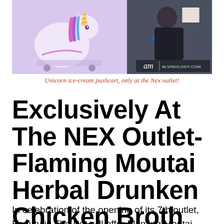[Figure (photo): Photo of a unicorn ice-cream pushcart decoration on the left side and a chef/worker on the right side, with 'am | alvinology.com' watermark in bottom right corner]
Unicorn ice-cream pushcart, only at the Nex outlet!
Exclusively At The NEX Outlet- Flaming Moutai Herbal Drunken Chicken Broth
In celebration of the opening of its 7th outlet, Beauty in The Pot will offer Flaming Moutai